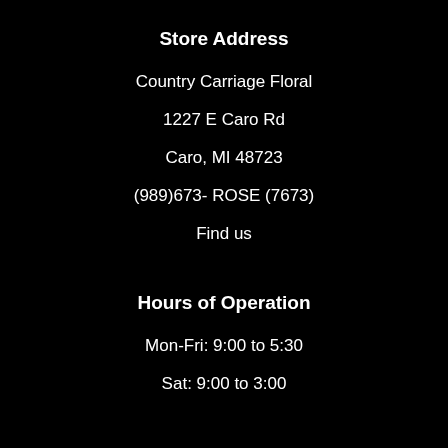Store Address
Country Carriage Floral
1227 E Caro Rd
Caro, MI 48723
(989)673- ROSE (7673)
Find us
Hours of Operation
Mon-Fri: 9:00 to 5:30
Sat: 9:00 to 3:00